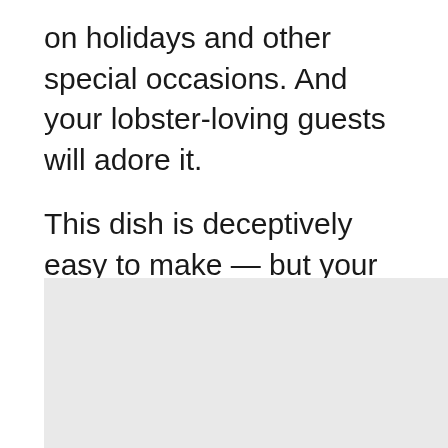on holidays and other special occasions. And your lobster-loving guests will adore it.

This dish is deceptively easy to make — but your guests will never know that. Cooked, shelled lobster is enrobed in a creamy sauce seasoned with sherry, paprika and more. In this version the creamy dish is divided into individual portions and topped with a crunchy buttery topping.
[Figure (photo): Light gray placeholder image area at the bottom of the page]